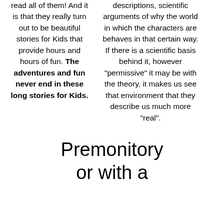read all of them! And it is that they really turn out to be beautiful stories for Kids that provide hours and hours of fun. The adventures and fun never end in these long stories for Kids.
descriptions, scientific arguments of why the world in which the characters are behaves in that certain way. If there is a scientific basis behind it, however "permissive" it may be with the theory, it makes us see that environment that they describe us much more "real".
Premonitory or with a